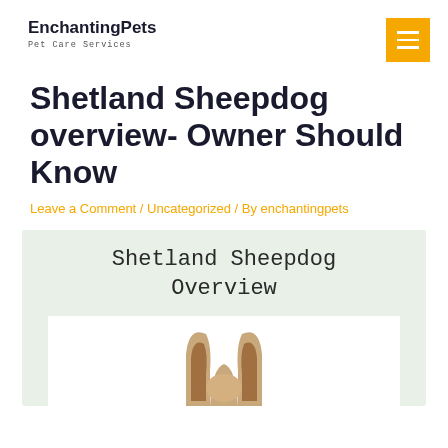EnchantingPets
Pet Care Services
Shetland Sheepdog overview- Owner Should Know
Leave a Comment / Uncategorized / By enchantingpets
[Figure (illustration): Infographic box with light green background showing title 'Shetland Sheepdog Overview' in handwritten font, with a white photo area below showing the top of a Shetland Sheepdog's head with ears visible against a white background.]